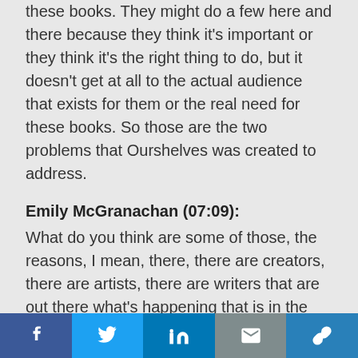don't sell well, then they don't promote those of these books. They might do a few here and there because they think it's important or they think it's the right thing to do, but it doesn't get at all to the actual audience that exists for them or the real need for these books. So those are the two problems that Ourshelves was created to address.
Emily McGranachan (07:09):
What do you think are some of those, the reasons, I mean, there, there are creators, there are artists, there are writers that are out there what's happening that is in the way of those books being out there and those books being found? How do they get buried? Like what can
social share bar with Facebook, Twitter, LinkedIn, Email, Link